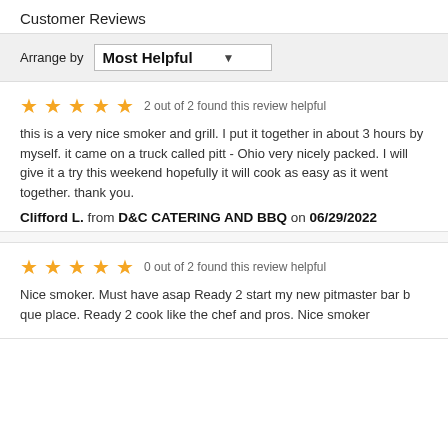Customer Reviews
Arrange by Most Helpful
★★★★★ 2 out of 2 found this review helpful
this is a very nice smoker and grill. I put it together in about 3 hours by myself. it came on a truck called pitt - Ohio very nicely packed. I will give it a try this weekend hopefully it will cook as easy as it went together. thank you.
Clifford L. from D&C CATERING AND BBQ on 06/29/2022
★★★★★ 0 out of 2 found this review helpful
Nice smoker. Must have asap Ready 2 start my new pitmaster bar b que place. Ready 2 cook like the chef and pros. Nice smoker